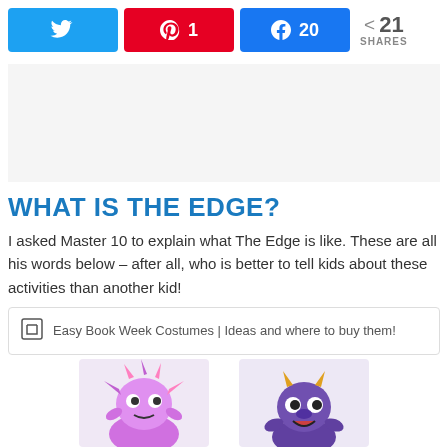[Figure (infographic): Social share bar with Twitter, Pinterest (1 share), Facebook (20 shares) buttons, and total 21 SHARES count]
[Figure (other): Advertisement/banner placeholder area (light gray background)]
WHAT IS THE EDGE?
I asked Master 10 to explain what The Edge is like. These are all his words below – after all, who is better to tell kids about these activities than another kid!
Easy Book Week Costumes | Ideas and where to buy them!
[Figure (photo): Two children dressed in monster/creature Halloween costumes – one in pink/purple and one in dark purple]